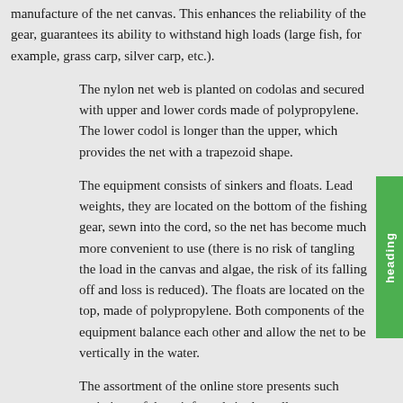manufacture of the net canvas. This enhances the reliability of the gear, guarantees its ability to withstand high loads (large fish, for example, grass carp, silver carp, etc.).
The nylon net web is planted on codolas and secured with upper and lower cords made of polypropylene. The lower codol is longer than the upper, which provides the net with a trapezoid shape.
The equipment consists of sinkers and floats. Lead weights, they are located on the bottom of the fishing gear, sewn into the cord, so the net has become much more convenient to use (there is no risk of tangling the load in the canvas and algae, the risk of its falling off and loss is reduced). The floats are located on the top, made of polypropylene. Both components of the equipment balance each other and allow the net to be vertically in the water.
The assortment of the online store presents such variations of the reinforced single-wall net:
• with a fishing line thickness from 0.28 to 0.35 mm;